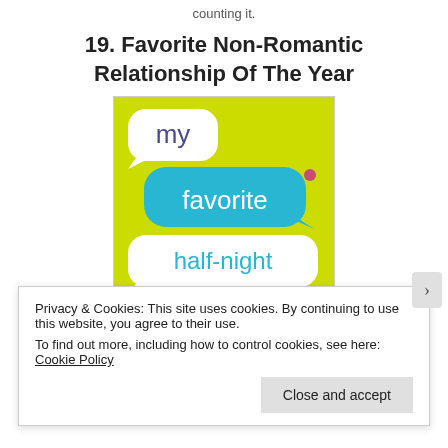counting it.
19. Favorite Non-Romantic Relationship Of The Year
[Figure (illustration): Book cover for 'My Favorite Half-Night' featuring a lime-green background with speech bubble text bubbles: white bubble with 'my', teal bubble with 'favorite', and teal bubble with 'half-night']
Privacy & Cookies: This site uses cookies. By continuing to use this website, you agree to their use.
To find out more, including how to control cookies, see here: Cookie Policy
Close and accept